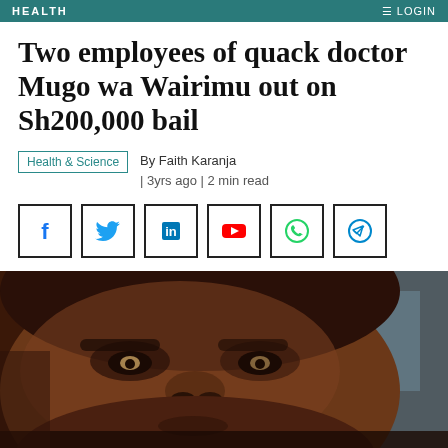HEALTH  LOGIN
Two employees of quack doctor Mugo wa Wairimu out on Sh200,000 bail
Health & Science  By Faith Karanja | 3yrs ago | 2 min read
[Figure (infographic): Row of six social media share buttons: Facebook, Twitter, LinkedIn, YouTube, WhatsApp, Telegram]
[Figure (photo): Close-up photograph of a man's face (Mugo wa Wairimu), looking downward, with a blurred background]